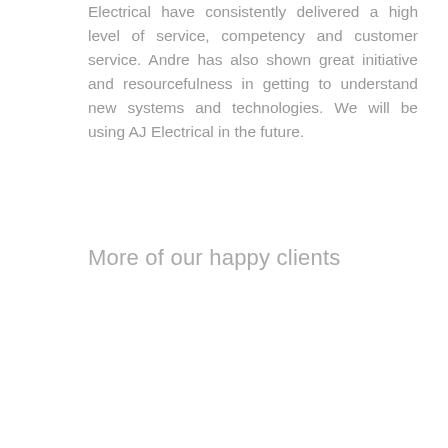Electrical have consistently delivered a high level of service, competency and customer service. Andre has also shown great initiative and resourcefulness in getting to understand new systems and technologies. We will be using AJ Electrical in the future.
More of our happy clients